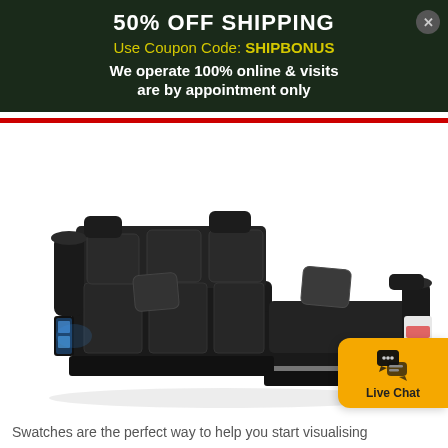50% OFF SHIPPING
Use Coupon Code: SHIPBONUS
We operate 100% online & visits are by appointment only
[Figure (photo): Black U-shaped sectional sofa with LED accent lighting and built-in storage on white background]
[Figure (infographic): Live Chat button widget with chat bubble icon on orange/amber background]
Swatches are the perfect way to help you start visualising